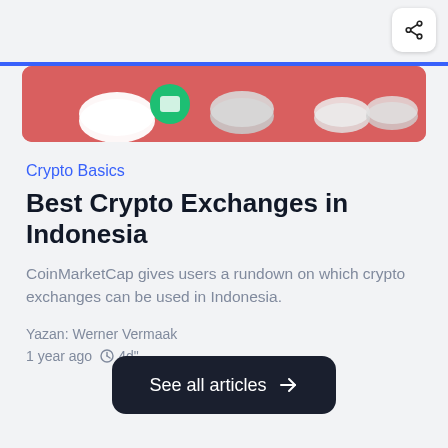[Figure (photo): Share icon button in top right corner]
[Figure (photo): Partial hero image showing crypto coins/tokens on a red/pink background with blue bar at top]
Crypto Basics
Best Crypto Exchanges in Indonesia
CoinMarketCap gives users a rundown on which crypto exchanges can be used in Indonesia.
Yazan: Werner Vermaak
1 year ago  4d"
See all articles →